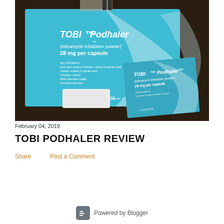[Figure (photo): Photo of two TOBI Podhaler medication boxes (tobramycin inhalation powder, 28 mg per capsule) placed on a dark leather surface. The boxes are light blue and white with the Novartis logo. One box faces front and another is angled to the right.]
February 04, 2019
TOBI PODHALER REVIEW
Share   Post a Comment
Powered by Blogger